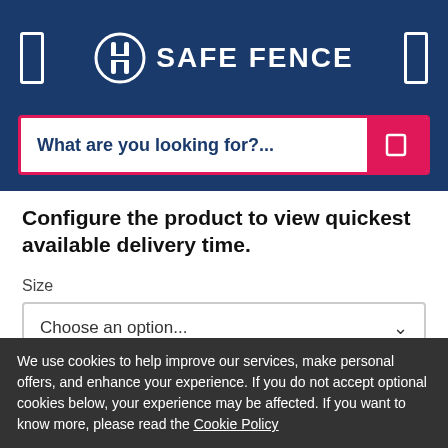[Figure (logo): Safe Fence logo with white fence icon and text SAFE FENCE on dark blue header background]
What are you looking for?...
Configure the product to view quickest available delivery time.
Size
Choose an option...
Type
Choose an option...
We use cookies to help improve our services, make personal offers, and enhance your experience. If you do not accept optional cookies below, your experience may be affected. If you want to know more, please read the Cookie Policy